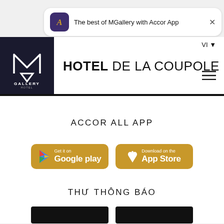[Figure (screenshot): App banner notification: Accor app icon (purple) followed by text 'The best of MGallery with Accor App' and a close X button]
[Figure (logo): MGallery Hotel Collection logo — white M and triangle on dark navy background, with 'GALLERY' and 'HOTEL COLLECTION' text below]
HOTEL DE LA COUPOLE
VI ▼
[Figure (infographic): Hamburger menu icon (three horizontal lines)]
ACCOR ALL APP
[Figure (other): Google Play store button (gold/brown background): 'Get it on Google play']
[Figure (other): App Store button (gold/brown background): 'Download on the App Store']
THƯ THÔNG BÁO
[Figure (other): Two dark button placeholders at the bottom]